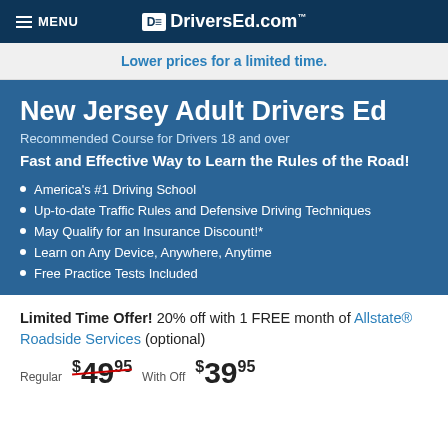MENU | DriversEd.com
Lower prices for a limited time.
New Jersey Adult Drivers Ed
Recommended Course for Drivers 18 and over
Fast and Effective Way to Learn the Rules of the Road!
America's #1 Driving School
Up-to-date Traffic Rules and Defensive Driving Techniques
May Qualify for an Insurance Discount!*
Learn on Any Device, Anywhere, Anytime
Free Practice Tests Included
Limited Time Offer! 20% off with 1 FREE month of Allstate® Roadside Services (optional)
Regular $49.95  With Off  $39.95